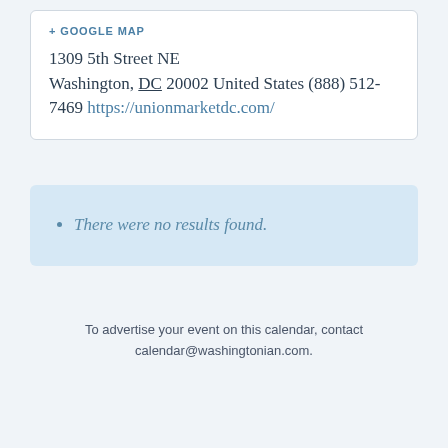+ GOOGLE MAP
1309 5th Street NE Washington, DC 20002 United States (888) 512-7469 https://unionmarketdc.com/
There were no results found.
To advertise your event on this calendar, contact calendar@washingtonian.com.